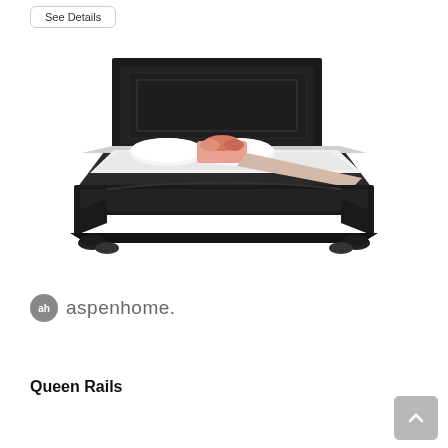See Details
[Figure (photo): A dark espresso/black queen bed frame with tall paneled headboard, sleigh-style footboard, and bun feet, dressed with white bedding and floral accent pillows]
[Figure (logo): aspenhome brand logo with circular 'ah' icon and text 'aspenhome.']
Queen Rails